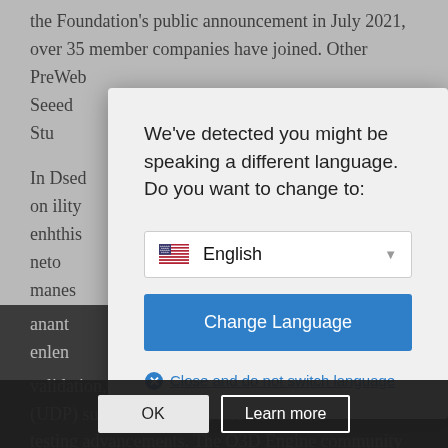the Foundation's public announcement in July 2021, over 35 member companies have joined. Other Pre... Web Se... eed Stu...
In D... sed on ... ility enh... this ne... to ma... nes
an... an en... len validation, in... ng, user-defined property (UDP) suppo... set pipeline, and automated testing advancements. The O3D Engine community is very active, averaging up to two million line
[Figure (screenshot): Language detection dialog box overlaid on background article text. Dialog reads: 'We've detected you might be speaking a different language. Do you want to change to:' with a dropdown showing English with US flag, a 'Change Language' blue button, and a 'Close and do not switch language' link with red X icon. Below the modal are two buttons: 'OK' and 'Learn more'.]